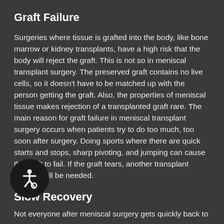Graft Failure
Surgeries where tissue is grafted into the body, like bone marrow or kidney transplants, have a high risk that the body will reject the graft. This is not so in meniscal transplant surgery. The preserved graft contains no live cells, so it doesn't have to be matched up with the person getting the graft. Also, the properties of meniscal tissue makes rejection of a transplanted graft rare. The main reason for graft failure in meniscal transplant surgery occurs when patients try to do too much, too soon after surgery. Doing sports where there are quick starts and stops, sharp pivoting, and jumping can cause the graft to fail. If the graft tears, another transplant surgery will be needed.
Slow Recovery
Not everyone after meniscal surgery gets quickly back to